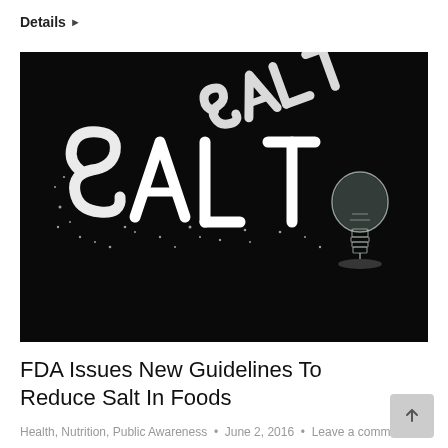Details ▶
[Figure (photo): Photo of the word SALT spelled out in white salt crystals on a black background, with a glass light bulb resting among the salt]
FDA Issues New Guidelines To Reduce Salt In Foods
Health, Nutrition, Public Awareness • June 2, 2016 • Leave a comment